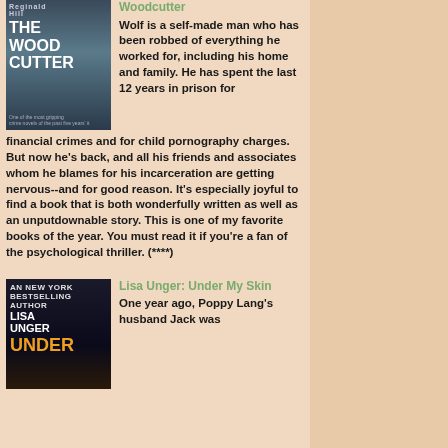[Figure (photo): Book cover of The Woodcutter by Reginald Hill, showing a dark moody landscape with barbed wire and a lake]
Woodcutter
Wolf is a self-made man who has been robbed of everything he worked for, including his home and family. He has spent the last 12 years in prison for financial crimes and for child pornography charges. But now he's back, and all his friends and associates whom he blames for his incarceration are getting nervous--and for good reason. It's especially joyful to find a book that is both wonderfully written as well as an unputdownable story. This is one of my favorite books of the year. You must read it if you're a fan of the psychological thriller. (****)
[Figure (photo): Book cover of Under My Skin by Lisa Unger, dark cover with orange text]
Lisa Unger: Under My Skin
One year ago, Poppy Lang's husband Jack was